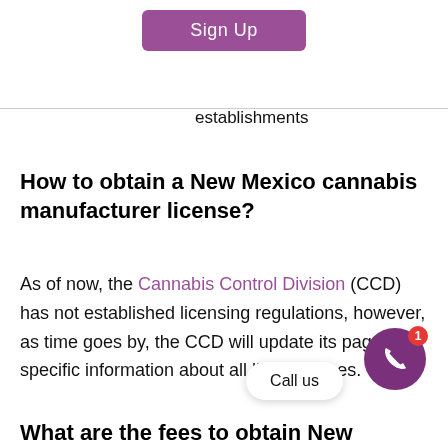[Figure (other): Purple 'Sign Up' button at top center of page]
establishments
How to obtain a New Mexico cannabis manufacturer license?
As of now, the Cannabis Control Division (CCD) has not established licensing regulations, however, as time goes by, the CCD will update its page with specific information about all license types.
[Figure (other): Call us button and purple phone icon button with red notification badge showing 1]
What are the fees to obtain New